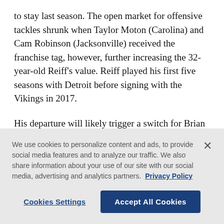to stay last season. The open market for offensive tackles shrunk when Taylor Moton (Carolina) and Cam Robinson (Jacksonville) received the franchise tag, however, further increasing the 32-year-old Reiff's value. Reiff played his first five seasons with Detroit before signing with the Vikings in 2017.
His departure will likely trigger a switch for Brian O'Neill, who has manned the right tackle spot for the Vikings since being drafted in the second round in 2018. Garrett Bradbury, the first-round pick in 2019, is
We use cookies to personalize content and ads, to provide social media features and to analyze our traffic. We also share information about your use of our site with our social media, advertising and analytics partners. Privacy Policy
Cookies Settings | Accept All Cookies